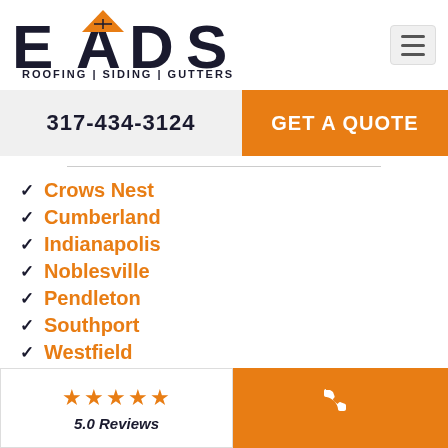[Figure (logo): EADS logo with rooftop A shape, text ROOFING | SIDING | GUTTERS]
317-434-3124
GET A QUOTE
Crows Nest
Cumberland
Indianapolis
Noblesville
Pendleton
Southport
Westfield
5.0 Reviews